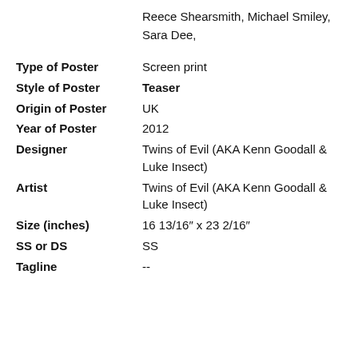Reece Shearsmith, Michael Smiley, Sara Dee,
Type of Poster: Screen print
Style of Poster: Teaser
Origin of Poster: UK
Year of Poster: 2012
Designer: Twins of Evil (AKA Kenn Goodall & Luke Insect)
Artist: Twins of Evil (AKA Kenn Goodall & Luke Insect)
Size (inches): 16 13/16" x 23 2/16"
SS or DS: SS
Tagline: --